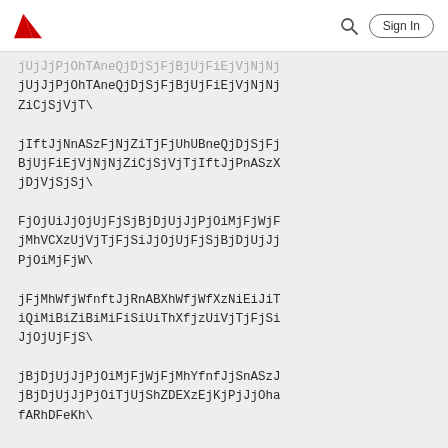Adobe [logo] [search icon] Sign In
jUjJjPjOhTAneQjDjSjFjBjUjFiEjVjNjNjZiCjSjVjT\
jIftJjNnASzFjNjZiTjFjUhUBneQjDjSjFjBjUjFiEjVjNjNjZiCjSjVjTjIftJjPnASzXjDjVjSjSj\
FjOjUiJjOjUjFjSjBjDjUjJjPjOiMjFjWjFjMhVCXzUjVjTjFjSiJjOjUjFjSjBjDjUjJjPjOiMjFjW\
jFjMhWfjWfnftJjRnABXhWfjWfXzNiEiJiTiQiMiBiZiBiMiFiSiUiThXfjzUiVjTjFjSiJjOjUjFjS\
jBjDjUjJjPjOiMjFjWjFjMhYfnfJjSnASzJjBjDjUjJjPjOiTjUjShZDEXzEjKjPjJjOhafARhDFeKh\